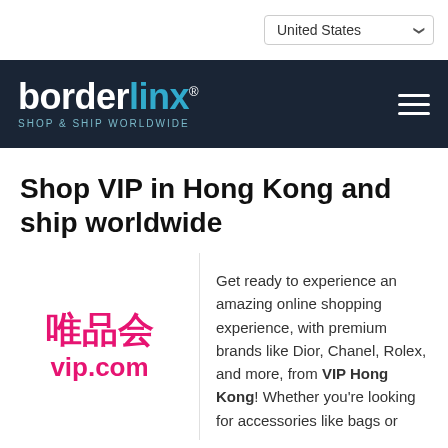[Figure (screenshot): Country selector dropdown showing 'United States' with a chevron/dropdown arrow, top-right area of page]
[Figure (logo): Borderlinx logo on dark navy background: 'border' in white bold text, 'linx' in cyan/teal bold text, registered trademark symbol, tagline 'SHOP & SHIP WORLDWIDE' in small teal letters below. Hamburger menu icon on the right.]
Shop VIP in Hong Kong and ship worldwide
[Figure (logo): VIP.com logo: Chinese characters 唯品会 in pink/magenta, 'vip.com' text in pink/magenta below]
Get ready to experience an amazing online shopping experience, with premium brands like Dior, Chanel, Rolex, and more, from VIP Hong Kong! Whether you're looking for accessories like bags or